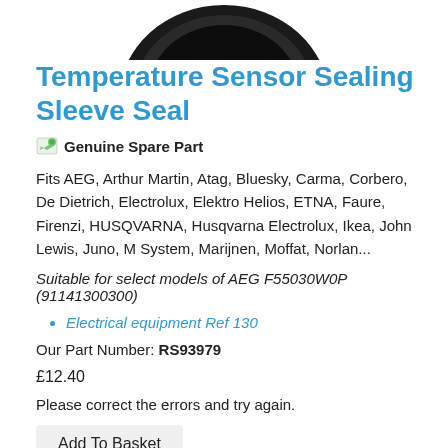[Figure (photo): Partial view of a black circular rubber sealing sleeve/seal product against white background, showing the top portion of the item.]
Temperature Sensor Sealing Sleeve Seal
Genuine Spare Part Genuine Spare Part
Fits AEG, Arthur Martin, Atag, Bluesky, Carma, Corbero, De Dietrich, Electrolux, Elektro Helios, ETNA, Faure, Firenzi, HUSQVARNA, Husqvarna Electrolux, Ikea, John Lewis, Juno, M System, Marijnen, Moffat, Norlan...
Suitable for select models of AEG F55030W0P (91141300300)
Electrical equipment Ref 130
Our Part Number: RS93979
£12.40
Please correct the errors and try again.
Add To Basket